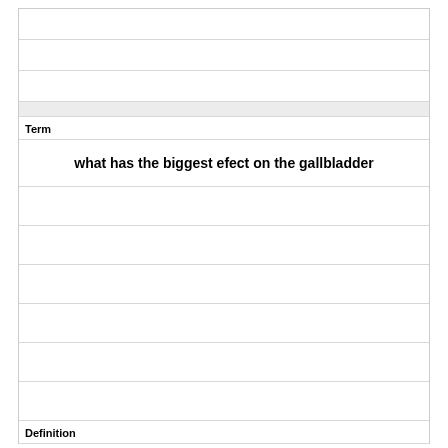Term
what has the biggest efect on the gallbladder
Definition
CCK